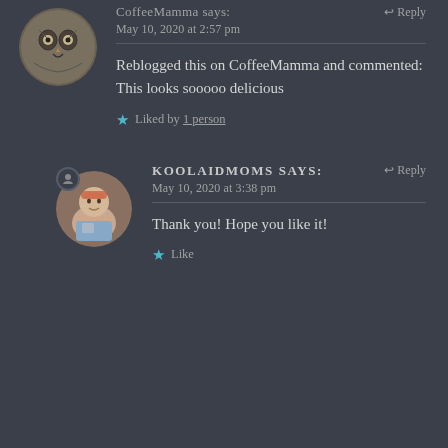[Figure (illustration): Circular avatar with sketch/tattoo style illustration of an owl or animal face]
CoffeeMamma says:
Reply
May 10, 2020 at 2:57 pm
Reblogged this on CoffeeMamma and commented:
This looks sooooo delicious
Liked by 1 person
[Figure (photo): Circular avatar photo of a woman with red/orange hair and glasses]
KOOLAIDMOMS says:
Reply
May 10, 2020 at 3:38 pm
Thank you! Hope you like it!
Like